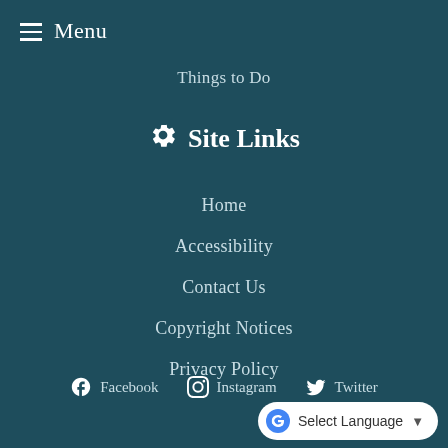Menu
Things to Do
Site Links
Home
Accessibility
Contact Us
Copyright Notices
Privacy Policy
Facebook  Instagram  Twitter  Select Language